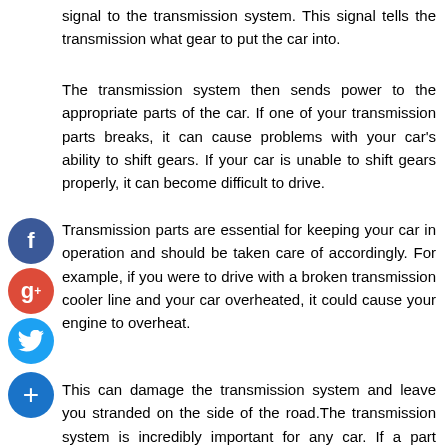signal to the transmission system. This signal tells the transmission what gear to put the car into.
The transmission system then sends power to the appropriate parts of the car. If one of your transmission parts breaks, it can cause problems with your car's ability to shift gears. If your car is unable to shift gears properly, it can become difficult to drive.
Transmission parts are essential for keeping your car in operation and should be taken care of accordingly. For example, if you were to drive with a broken transmission cooler line and your car overheated, it could cause your engine to overheat.
This can damage the transmission system and leave you stranded on the side of the road. The transmission system is incredibly important for any car. If a part breaks, it will